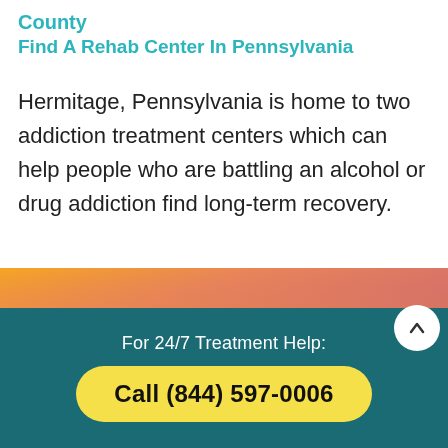County
Find A Rehab Center In Pennsylvania
Hermitage, Pennsylvania is home to two addiction treatment centers which can help people who are battling an alcohol or drug addiction find long-term recovery.
[Figure (photo): Sunset sky with warm orange and yellow gradient tones]
For 24/7 Treatment Help:
Call (844) 597-0006